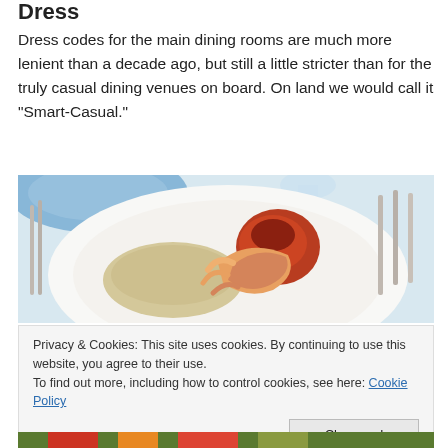Dress
Dress codes for the main dining rooms are much more lenient than a decade ago, but still a little stricter than for the truly casual dining venues on board. On land we would call it “Smart-Casual.”
[Figure (photo): A plated dish of shrimp and lobster with rice on a white plate, set on a dining table with blue plates and glassware in the background, silverware on the right side.]
Privacy & Cookies: This site uses cookies. By continuing to use this website, you agree to their use.
To find out more, including how to control cookies, see here: Cookie Policy
Close and accept
[Figure (photo): Bottom edge of another food photo showing colorful vegetables and food items.]